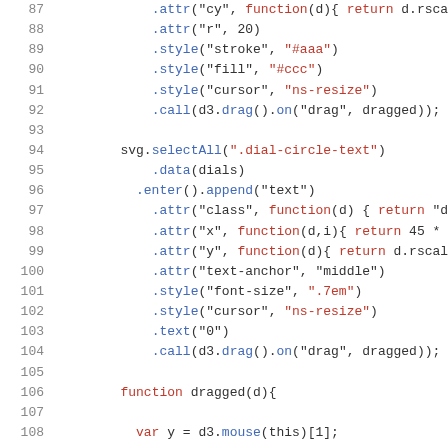[Figure (screenshot): Code editor screenshot showing JavaScript/D3.js code, lines 87–108, with syntax highlighting (blue for method names, red for keywords and string values, dark for other text).]